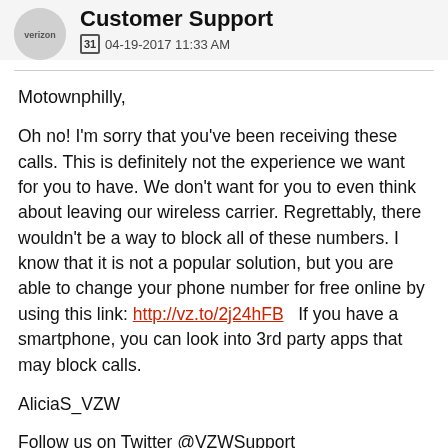Customer Support
31 04-19-2017 11:33 AM
Motownphilly,
Oh no! I'm sorry that you've been receiving these calls. This is definitely not the experience we want for you to have. We don't want for you to even think about leaving our wireless carrier. Regrettably, there wouldn't be a way to block all of these numbers. I know that it is not a popular solution, but you are able to change your phone number for free online by using this link: http://vz.to/2j24hFB  If you have a smartphone, you can look into 3rd party apps that may block calls.
AliciaS_VZW
Follow us on Twitter @VZWSupport